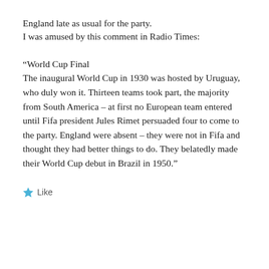England late as usual for the party.
I was amused by this comment in Radio Times:
“World Cup Final
The inaugural World Cup in 1930 was hosted by Uruguay, who duly won it. Thirteen teams took part, the majority from South America – at first no European team entered until Fifa president Jules Rimet persuaded four to come to the party. England were absent – they were not in Fifa and thought they had better things to do. They belatedly made their World Cup debut in Brazil in 1950.”
Like